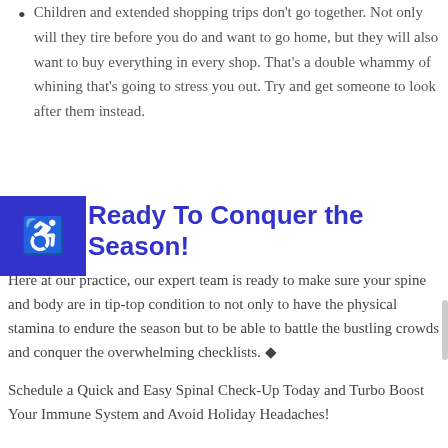Children and extended shopping trips don't go together. Not only will they tire before you do and want to go home, but they will also want to buy everything in every shop. That's a double whammy of whining that's going to stress you out. Try and get someone to look after them instead.
Ready To Conquer the Season!
Here at our practice, our expert team is ready to make sure your spine and body are in tip-top condition to not only to have the physical stamina to endure the season but to be able to battle the bustling crowds and conquer the overwhelming checklists. ◆
Schedule a Quick and Easy Spinal Check-Up Today and Turbo Boost Your Immune System and Avoid Holiday Headaches!